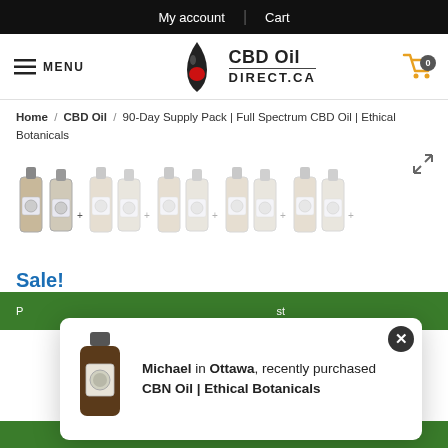My account | Cart
[Figure (logo): CBD Oil Direct.CA logo with maple leaf drop icon]
MENU
Home / CBD Oil / 90-Day Supply Pack | Full Spectrum CBD Oil | Ethical Botanicals
[Figure (photo): Product images showing multiple CBD oil bottle bundle options with plus signs between them]
Sale!
Michael in Ottawa, recently purchased CBN Oil | Ethical Botanicals
Dismiss